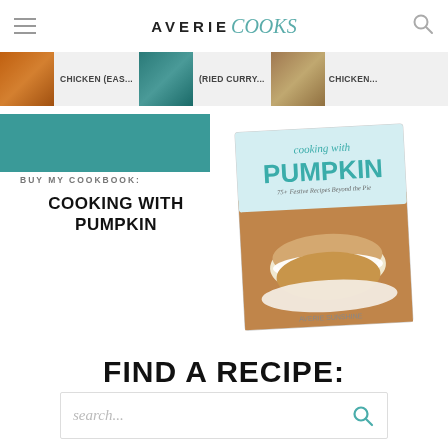AVERIE Cooks
[Figure (photo): Navigation strip with food thumbnail images and labels: Chicken (Eas..., (ried Curry..., Chicken...]
BUY MY COOKBOOK:
COOKING WITH PUMPKIN
[Figure (photo): Book cover: cooking with PUMPKIN by Averie Sunshine, showing pumpkin sandwich cookies with cream filling]
FIND A RECIPE:
search...